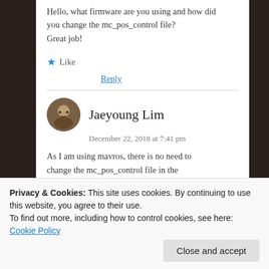Hello, what firmware are you using and how did you change the mc_pos_control file? Great job!
★ Like
Reply
Jaeyoung Lim
December 22, 2018 at 7:41 pm
As I am using mavros, there is no need to change the mc_pos_control file in the
Privacy & Cookies: This site uses cookies. By continuing to use this website, you agree to their use.
To find out more, including how to control cookies, see here: Cookie Policy
Close and accept